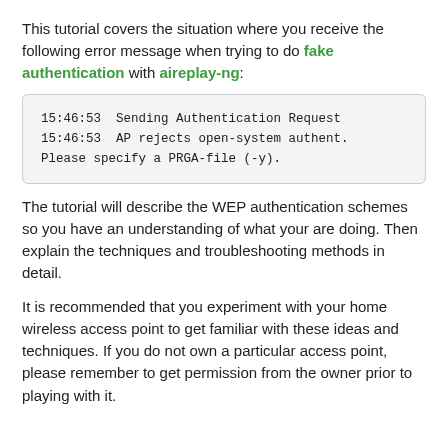This tutorial covers the situation where you receive the following error message when trying to do fake authentication with aireplay-ng:
15:46:53  Sending Authentication Request
15:46:53  AP rejects open-system authent.
Please specify a PRGA-file (-y).
The tutorial will describe the WEP authentication schemes so you have an understanding of what your are doing. Then explain the techniques and troubleshooting methods in detail.
It is recommended that you experiment with your home wireless access point to get familiar with these ideas and techniques. If you do not own a particular access point, please remember to get permission from the owner prior to playing with it.